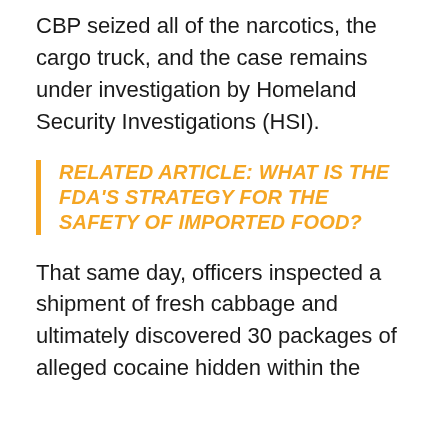CBP seized all of the narcotics, the cargo truck, and the case remains under investigation by Homeland Security Investigations (HSI).
RELATED ARTICLE: WHAT IS THE FDA'S STRATEGY FOR THE SAFETY OF IMPORTED FOOD?
That same day, officers inspected a shipment of fresh cabbage and ultimately discovered 30 packages of alleged cocaine hidden within the